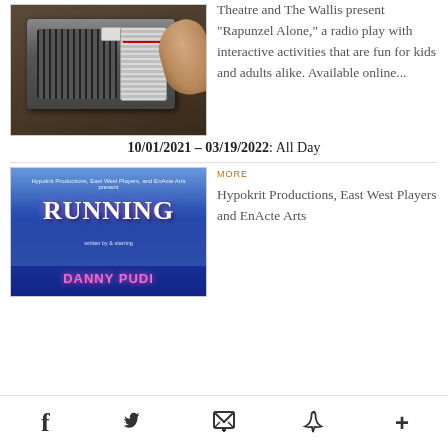[Figure (photo): Photo of a vintage portable transistor radio on a wooden surface, with a hand tuning the dial]
Theatre and The Wallis present "Rapunzel Alone," a radio play with interactive activities that are fun for kids and adults alike. Available online...
10/01/2021 – 03/19/2022: All Day
[Figure (photo): Promotional poster for 'Running' by Hypokrit Productions, East West Players, and EnActe Arts, written by & starring Danny Pudi, with blue city skyline background]
more
Hypokrit Productions, East West Players and EnActe Arts